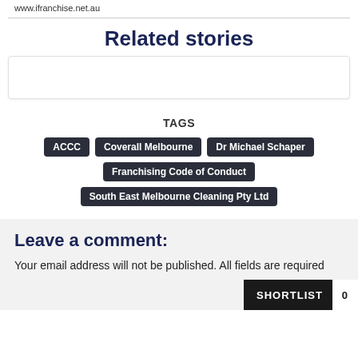www.ifranchise.net.au
Related stories
TAGS
ACCC
Coverall Melbourne
Dr Michael Schaper
Franchising Code of Conduct
South East Melbourne Cleaning Pty Ltd
Leave a comment:
Your email address will not be published. All fields are required